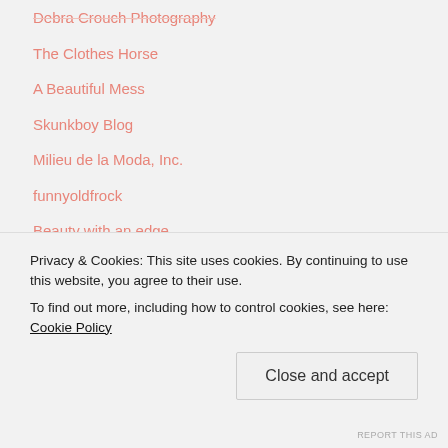Debra Crouch Photography
The Clothes Horse
A Beautiful Mess
Skunkboy Blog
Milieu de la Moda, Inc.
funnyoldfrock
Beauty with an edge
Peppermints & Honey Bees
The Daily Post
WordPress.com News
Privacy & Cookies: This site uses cookies. By continuing to use this website, you agree to their use.
To find out more, including how to control cookies, see here: Cookie Policy
REPORT THIS AD